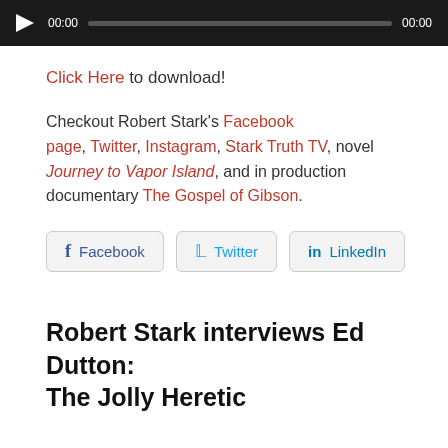[Figure (other): Audio player widget with dark background, play button, timestamp 00:00, progress bar, and end time 00:00]
Click Here to download!
Checkout Robert Stark's Facebook page, Twitter, Instagram, Stark Truth TV, novel Journey to Vapor Island, and in production documentary The Gospel of Gibson.
[Figure (other): Social sharing buttons: Facebook, Twitter, LinkedIn]
Robert Stark interviews Ed Dutton: The Jolly Heretic